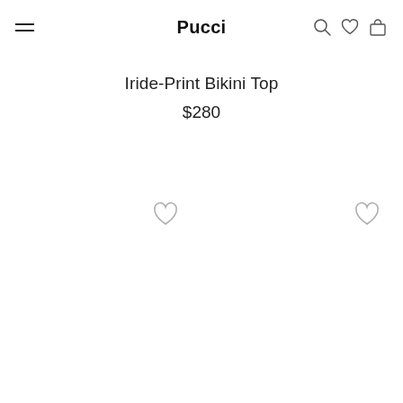Pucci
Iride-Print Bikini Top
$280
[Figure (illustration): Heart/wishlist icon outline (left)]
[Figure (illustration): Heart/wishlist icon outline (right)]